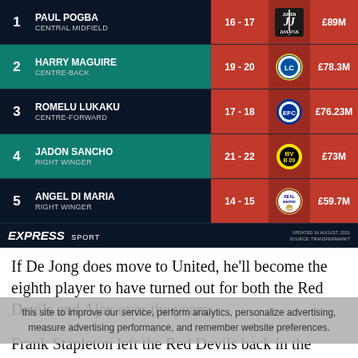[Figure (infographic): Top 5 most expensive Manchester United signings ranked table with player name, position, season, club logo, and transfer fee]
If De Jong does move to United, he'll become the eighth player to have turned out for both the Red Devils and Ajax over the years.
...this site to improve our service, perform analytics, personalize advertising, measure advertising performance, and remember website preferences.
Frank Stapleton left the Red Devils back in the 1980s, moving to Amsterdam after being deemed surplus to